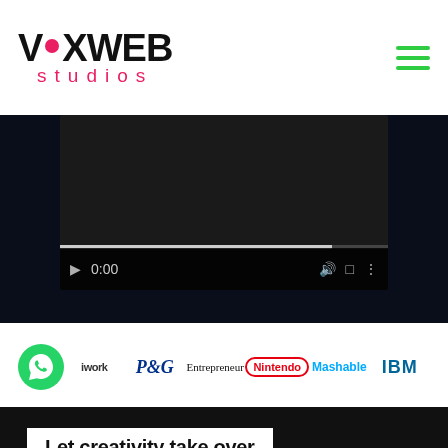[Figure (logo): VoxWeb Studios logo with pink dot in the word VOXWEB and pink 'studios' text below]
[Figure (screenshot): Video player with dark background, play button, time 0:00, volume, fullscreen and more icons, with progress bar]
[Figure (infographic): 5 carousel navigation dots, second one is red/active]
[Figure (infographic): Brand logos strip: iWork, P&G, Entrepreneur, Nintendo, Mashable, IBM with WhatsApp icon]
Let creativity take over